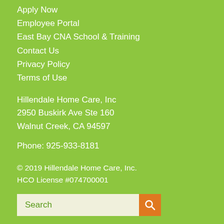Apply Now
Employee Portal
East Bay CNA School & Training
Contact Us
Privacy Policy
Terms of Use
Hillendale Home Care, Inc
2950 Buskirk Ave Ste 160
Walnut Creek, CA 94597
Phone: 925-933-8181
© 2019 Hillendale Home Care, Inc.
HCO License #074700001
Search